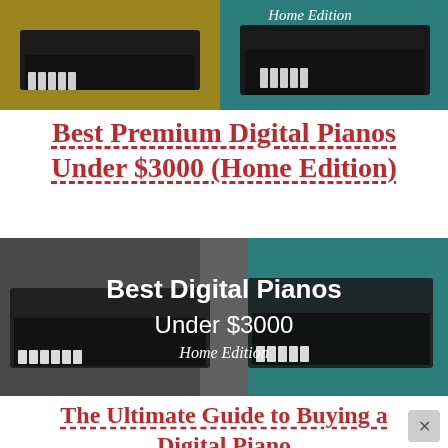[Figure (photo): Cropped top portion of a promotional banner showing digital pianos on gold/teal background with 'Home Edition' text]
Best Premium Digital Pianos Under $3000 (Home Edition)
[Figure (photo): Promotional banner image showing two digital pianos side by side with text: Best Digital Pianos Under $3000 Home Edition]
The Ultimate Guide to Buying a Digital Piano